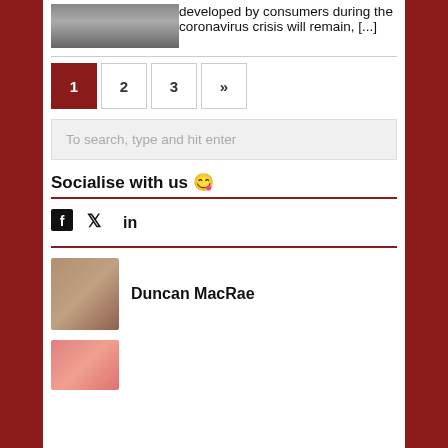developed by consumers during the coronavirus crisis will remain, [...]
Pagination: 1 2 3 »
To search, type and hit enter
Socialise with us 🥰
[Figure (infographic): Social media icons: Facebook, Twitter, LinkedIn]
[Figure (photo): Author photo of Duncan MacRae, man with beard and sunglasses]
Duncan MacRae
[Figure (illustration): Second author avatar, pink cartoon character with eyes]